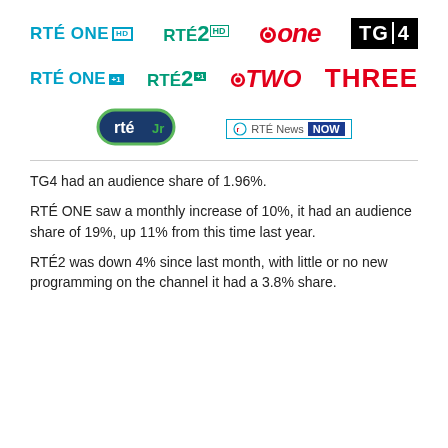[Figure (logo): Row of TV channel logos: RTÉ ONE HD, RTÉ 2 HD, Virgin One, TG4]
[Figure (logo): Row of TV channel logos: RTÉ ONE +1, RTÉ 2 +1, Virgin TWO, THREE]
[Figure (logo): Row of TV channel logos: RTÉ Jr, RTÉ News NOW]
TG4 had an audience share of 1.96%.
RTÉ ONE saw a monthly increase of 10%, it had an audience share of 19%, up 11% from this time last year.
RTÉ2 was down 4% since last month, with little or no new programming on the channel it had a 3.8% share.